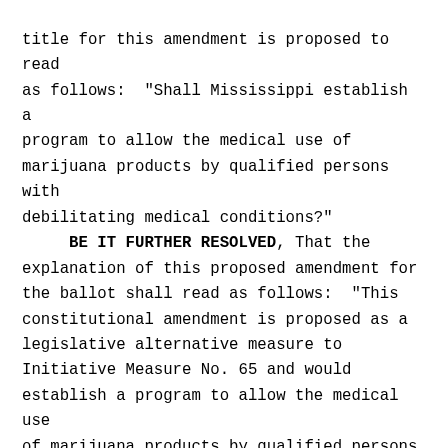title for this amendment is proposed to read as follows:  "Shall Mississippi establish a program to allow the medical use of marijuana products by qualified persons with debilitating medical conditions?"
     BE IT FURTHER RESOLVED, That the explanation of this proposed amendment for the ballot shall read as follows:  "This constitutional amendment is proposed as a legislative alternative measure to Initiative Measure No. 65 and would establish a program to allow the medical use of marijuana products by qualified persons with debilitating medical conditions."